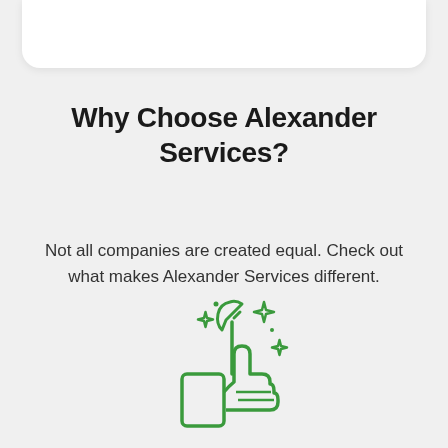Why Choose Alexander Services?
Not all companies are created equal. Check out what makes Alexander Services different.
[Figure (illustration): Green line-art icon of a hand giving a thumbs up holding a wrench, surrounded by sparkle/star decorations, representing quality service.]